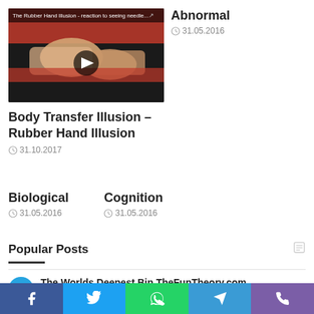[Figure (screenshot): Video thumbnail of The Rubber Hand Illusion - hands with rubber glove on red background, YouTube play button in center]
Abnormal
31.05.2016
Body Transfer Illusion – Rubber Hand Illusion
31.10.2017
Biological
31.05.2016
Cognition
31.05.2016
Popular Posts
1. The Worlds Deepest Bin TheFunTheory.com — 02.06.2016